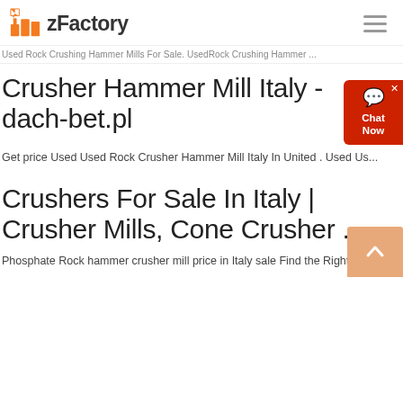zFactory
Used Rock Crushing Hammer Mills For Sale. UsedRock Crushing Hammer ...
Crusher Hammer Mill Italy - dach-bet.pl
Get price Used Used Rock Crusher Hammer Mill Italy In United . Used Us...
Crushers For Sale In Italy | Crusher Mills, Cone Crusher ...
Phosphate Rock hammer crusher mill price in Italy sale Find the Right an...